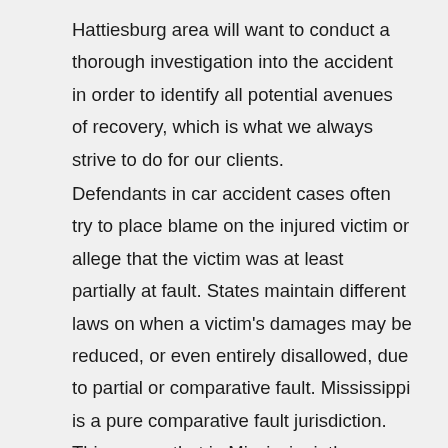Hattiesburg area will want to conduct a thorough investigation into the accident in order to identify all potential avenues of recovery, which is what we always strive to do for our clients.
Defendants in car accident cases often try to place blame on the injured victim or allege that the victim was at least partially at fault. States maintain different laws on when a victim's damages may be reduced, or even entirely disallowed, due to partial or comparative fault. Mississippi is a pure comparative fault jurisdiction. This means that in Mississippi, the victim's right to recover for damages suffered may be reduced by